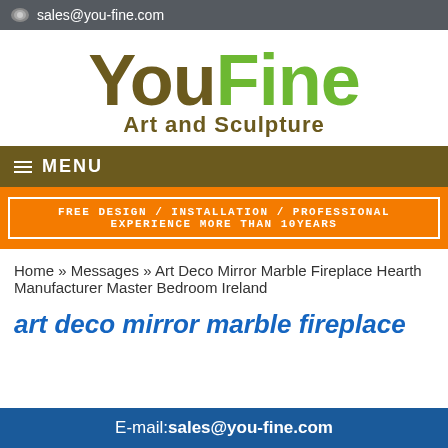sales@you-fine.com
[Figure (logo): YouFine Art and Sculpture logo — 'You' in dark olive/brown, 'Fine' in bright green, subtitle 'Art and Sculpture' in brown]
MENU
FREE DESIGN / INSTALLATION / PROFESSIONAL EXPERIENCE MORE THAN 10YEARS
Home » Messages » Art Deco Mirror Marble Fireplace Hearth Manufacturer Master Bedroom Ireland
art deco mirror marble fireplace
E-mail:sales@you-fine.com